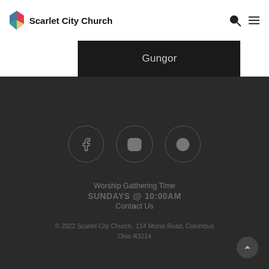Scarlet City Church
Gungor
[Figure (illustration): Three circular social media icons: Facebook (f), Instagram (camera), Spotify (music note)]
Worship Gathering Time
SUNDAYS @ 10:00AM
Contact Us
© 2022 Scarlet City Church, 114 Morse Road, Columbus Ohio 43214